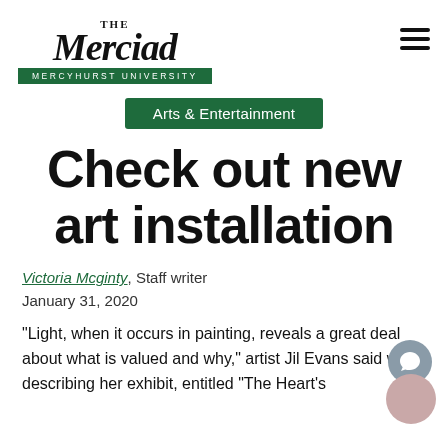The Merciad — Mercyhurst University
Arts & Entertainment
Check out new art installation
Victoria Mcginty, Staff writer
January 31, 2020
“Light, when it occurs in painting, reveals a great deal about what is valued and why,” artist Jil Evans said when describing her exhibit, entitled “The Heart’s